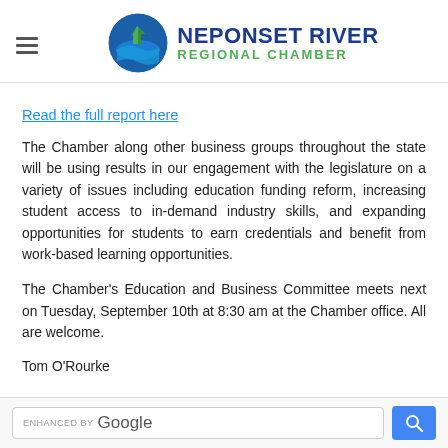NEPONSET RIVER REGIONAL CHAMBER
Read the full report here
The Chamber along other business groups throughout the state will be using results in our engagement with the legislature on a variety of issues including education funding reform, increasing student access to in-demand industry skills, and expanding opportunities for students to earn credentials and benefit from work-based learning opportunities.
The Chamber's Education and Business Committee meets next on Tuesday, September 10th at 8:30 am at the Chamber office. All are welcome.
Tom O'Rourke